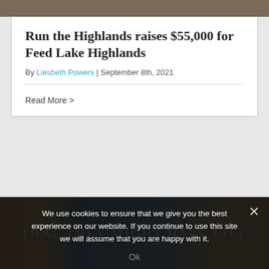[Figure (photo): Top banner image — dark brownish-gray photo strip at the top of the page]
Run the Highlands raises $55,000 for Feed Lake Highlands
By Liesbeth Powers | September 8th, 2021
Read More >
[Figure (photo): Mural image showing a world map with people illustrations and text reading 'THAT THEY MIGHT HAVE LIFE' on an orange/blue background]
We use cookies to ensure that we give you the best experience on our website. If you continue to use this site we will assume that you are happy with it.
Ok